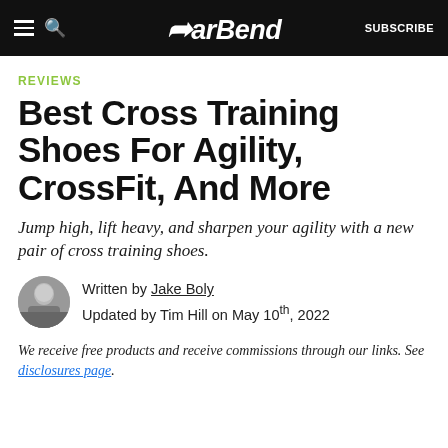BarBend — SUBSCRIBE
REVIEWS
Best Cross Training Shoes For Agility, CrossFit, And More
Jump high, lift heavy, and sharpen your agility with a new pair of cross training shoes.
Written by Jake Boly
Updated by Tim Hill on May 10th, 2022
We receive free products and receive commissions through our links. See disclosures page.